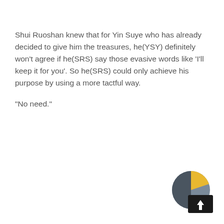Shui Ruoshan knew that for Yin Suye who has already decided to give him the treasures, he(YSY) definitely won't agree if he(SRS) say those evasive words like 'I'll keep it for you'. So he(SRS) could only achieve his purpose by using a more tactful way.
“No need.”
[Figure (other): A circular icon showing a moon/planet with a dark and golden segment, overlaid with a dark square containing an upward arrow, resembling a scroll-to-top or navigation button.]